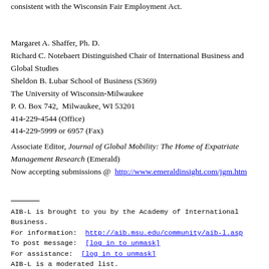consistent with the Wisconsin Fair Employment Act.
Margaret A. Shaffer, Ph. D.
Richard C. Notebaert Distinguished Chair of International Business and Global Studies
Sheldon B. Lubar School of Business (S369)
The University of Wisconsin-Milwaukee
P. O. Box 742,  Milwaukee, WI 53201
414-229-4544 (Office)
414-229-5999 or 6957 (Fax)
Associate Editor, Journal of Global Mobility: The Home of Expatriate Management Research (Emerald)
Now accepting submissions @  http://www.emeraldinsight.com/jgm.htm
AIB-L is brought to you by the Academy of International Business.
For information: http://aib.msu.edu/community/aib-l.asp
To post message: [log in to unmask]
For assistance: [log in to unmask]
AIB-L is a moderated list.